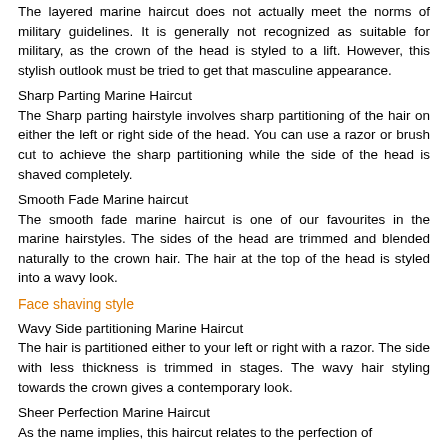The layered marine haircut does not actually meet the norms of military guidelines. It is generally not recognized as suitable for military, as the crown of the head is styled to a lift. However, this stylish outlook must be tried to get that masculine appearance.
Sharp Parting Marine Haircut
The Sharp parting hairstyle involves sharp partitioning of the hair on either the left or right side of the head. You can use a razor or brush cut to achieve the sharp partitioning while the side of the head is shaved completely.
Smooth Fade Marine haircut
The smooth fade marine haircut is one of our favourites in the marine hairstyles. The sides of the head are trimmed and blended naturally to the crown hair. The hair at the top of the head is styled into a wavy look.
Face shaving style
Wavy Side partitioning Marine Haircut
The hair is partitioned either to your left or right with a razor. The side with less thickness is trimmed in stages. The wavy hair styling towards the crown gives a contemporary look.
Sheer Perfection Marine Haircut
As the name implies, this haircut relates to the perfection of